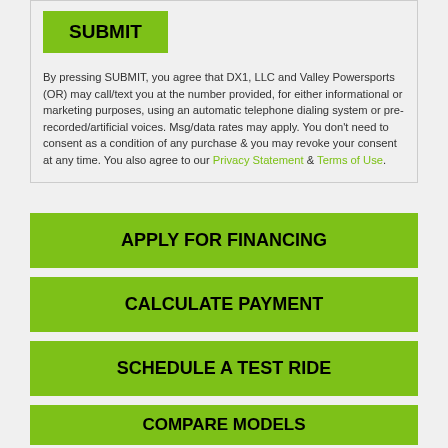SUBMIT
By pressing SUBMIT, you agree that DX1, LLC and Valley Powersports (OR) may call/text you at the number provided, for either informational or marketing purposes, using an automatic telephone dialing system or pre-recorded/artificial voices. Msg/data rates may apply. You don't need to consent as a condition of any purchase & you may revoke your consent at any time. You also agree to our Privacy Statement & Terms of Use.
APPLY FOR FINANCING
CALCULATE PAYMENT
SCHEDULE A TEST RIDE
COMPARE MODELS
INSURANCE QUOTE